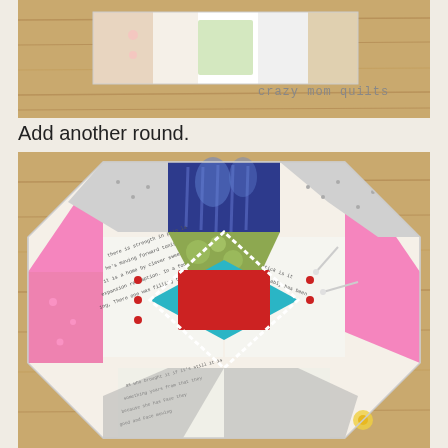[Figure (photo): Top partial image showing a quilt block strip on a wooden surface with 'crazy mom quilts' watermark text in the lower right corner]
Add another round.
[Figure (photo): A colorful patchwork quilt block in an octagonal/square-on-point arrangement featuring fabrics in pink, red, teal, navy blue, white, grey, and olive green with various prints including floral, text, and dotted patterns. The block has a red center square surrounded by teal diamonds and multiple rounds of different patterned fabrics, laid on a wooden surface with pins visible.]